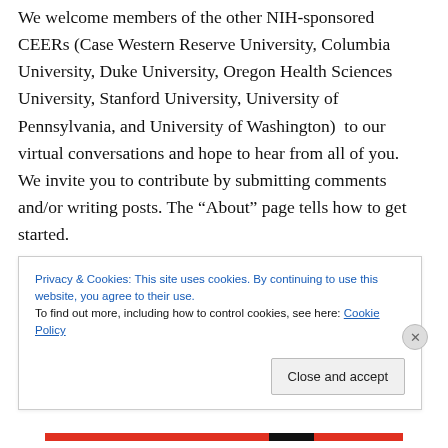We welcome members of the other NIH-sponsored CEERs (Case Western Reserve University, Columbia University, Duke University, Oregon Health Sciences University, Stanford University, University of Pennsylvania, and University of Washington)  to our virtual conversations and hope to hear from all of you.  We invite you to contribute by submitting comments and/or writing posts.  The “About” page tells how to get started.
The topic of genetic testing has been extensively covered by the media but it can sometimes be challenging to sort out fact from fiction.  One tactic is to obtain information
Privacy & Cookies: This site uses cookies. By continuing to use this website, you agree to their use.
To find out more, including how to control cookies, see here: Cookie Policy
Close and accept